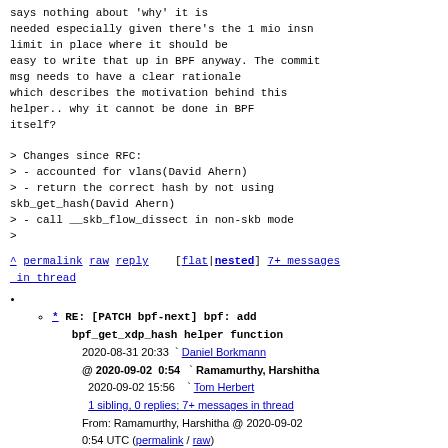says nothing about 'why' it is
needed especially given there's the 1 mio insn
limit in place where it should be
easy to write that up in BPF anyway. The commit
msg needs to have a clear rationale
which describes the motivation behind this
helper.. why it cannot be done in BPF
itself?

> Changes since RFC:
> - accounted for vlans(David Ahern)
> - return the correct hash by not using
skb_get_hash(David Ahern)
> - call __skb_flow_dissect in non-skb mode
>
^ permalink raw reply    [flat|nested] 7+ messages in thread
* RE: [PATCH bpf-next] bpf: add bpf_get_xdp_hash helper function
2020-08-31 20:33  ` Daniel Borkmann
@ 2020-09-02  0:54  ` Ramamurthy, Harshitha
2020-09-02 15:56    ` Tom Herbert
1 sibling, 0 replies; 7+ messages in thread
From: Ramamurthy, Harshitha @ 2020-09-02 0:54 UTC (permalink / raw)
To: Daniel Borkmann, bpf, netdev, ast,